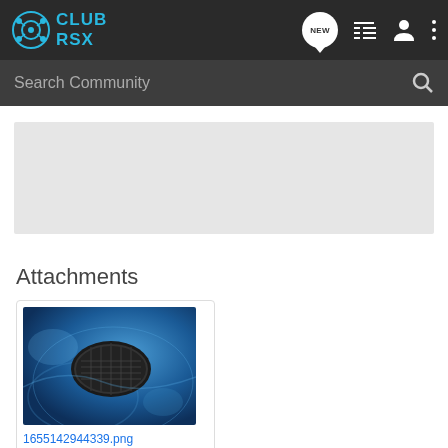CLUB RSX
Search Community
Attachments
[Figure (photo): Blue car body panel with black oval intake/vent detail]
1655142944339.png
440 KB   Views: 20